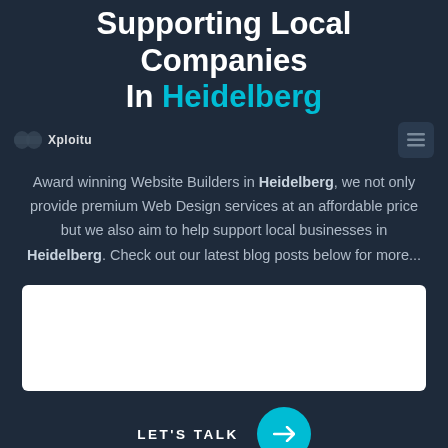Supporting Local Companies In Heidelberg
Award winning Website Builders in Heidelberg, we not only provide premium Web Design services at an affordable price but we also aim to help support local businesses in Heidelberg. Check out our latest blog posts below for more...
[Figure (other): White card/content block placeholder]
LET'S TALK →